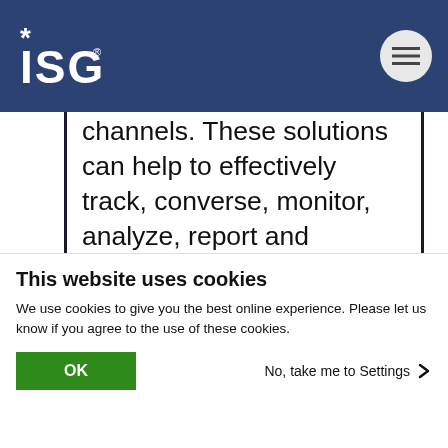ISG
channels. These solutions can help to effectively track, converse, monitor, analyze, report and manage various social media venues and conversations. Outbound and incoming online interactions along with other business marketing activities can be efficiently managed in this way. Besides the specific functionality, integration with the company's system environment and
This website uses cookies
We use cookies to give you the best online experience. Please let us know if you agree to the use of these cookies.
OK
No, take me to Settings